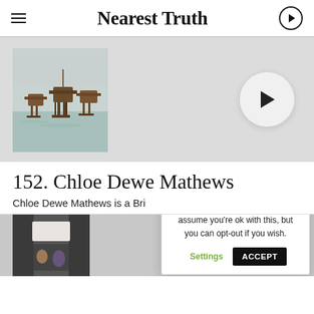Nearest Truth
[Figure (screenshot): Hero area with photo of offshore sea forts on stilts in misty water, and a circular play button on the right]
152. Chloe Dewe Mathews
Chloe Dewe Mathews is a Bri
[Figure (photo): Partial photo at bottom left, appears to show people in a doorway or similar interior scene]
This website uses cookies to improve your experience. We'll assume you're ok with this, but you can opt-out if you wish.